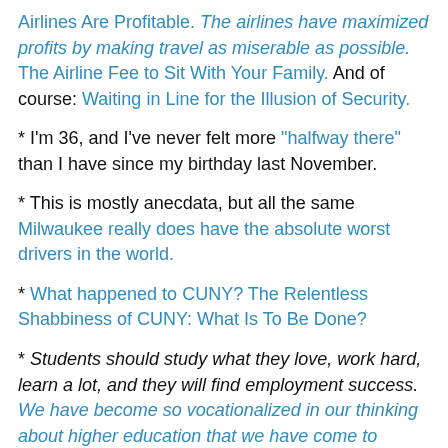Airlines Are Profitable. The airlines have maximized profits by making travel as miserable as possible. The Airline Fee to Sit With Your Family. And of course: Waiting in Line for the Illusion of Security.
* I'm 36, and I've never felt more "halfway there" than I have since my birthday last November.
* This is mostly anecdata, but all the same Milwaukee really does have the absolute worst drivers in the world.
* What happened to CUNY? The Relentless Shabbiness of CUNY: What Is To Be Done?
* Students should study what they love, work hard, learn a lot, and they will find employment success. We have become so vocationalized in our thinking about higher education that we have come to believe that a major is a